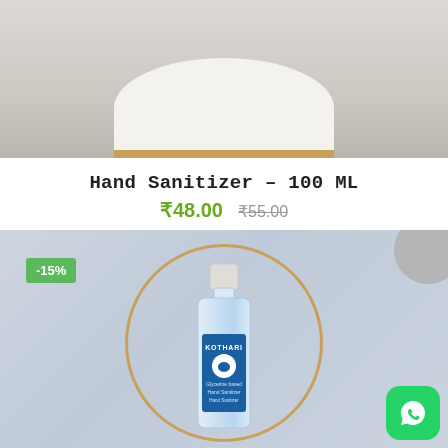[Figure (photo): Top portion of a white cylindrical hand sanitizer bottle with a gold/brown ring at the bottom, on a light grey background]
Hand Sanitizer – 100 ML
₹48.00  ₹55.00 (strikethrough)
[Figure (photo): Hand sanitizer bottle (Kothari brand) centered inside a circular gold/tan frame on a light blue-grey background, with a -15% discount badge in green at the top left, a grey circle partially visible at top right, and a WhatsApp button in the bottom right corner]